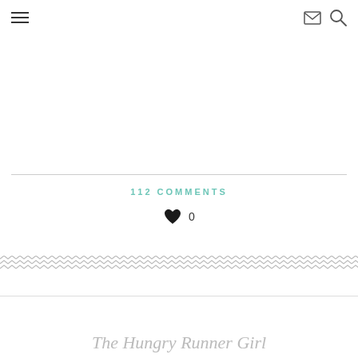≡  ✉ 🔍
112 COMMENTS
♥ 0
[Figure (illustration): Repeating zigzag/chevron decorative border pattern in light gray]
The Hungry Runner Girl